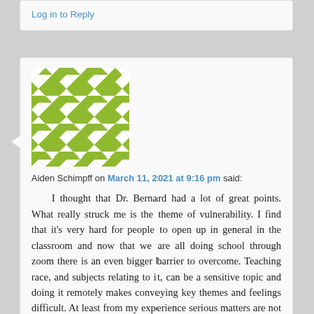Log in to Reply
[Figure (illustration): Green and white geometric quilt-pattern avatar for user Aiden Schimpff]
Aiden Schimpff on March 11, 2021 at 9:16 pm said:
I thought that Dr. Bernard had a lot of great points. What really struck me is the theme of vulnerability. I find that it's very hard for people to open up in general in the classroom and now that we are all doing school through zoom there is an even bigger barrier to overcome. Teaching race, and subjects relating to it, can be a sensitive topic and doing it remotely makes conveying key themes and feelings difficult. At least from my experience serious matters are not easily talked about online, for a multitude of reasons. In such a critical time for the topic of race, the absence of an adequate form of communication is detrimental and may be the cause of developing misdirections and communications on race. I only wish I could've asked how Dr. Bernard got through the barrier and maybe if she had some suggestions or ideas on how to fix it.